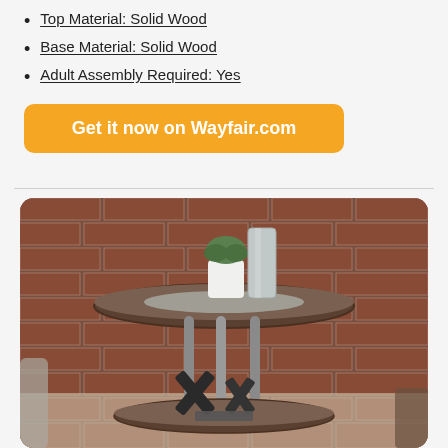Top Material: Solid Wood
Base Material: Solid Wood
Adult Assembly Required: Yes
Get it now on Wayfair.com
[Figure (photo): A round two-tier end table with metal legs displayed against a brick wall background. A white pot with a plant sits on top. Decorative X-shaped objects and a book are on the lower shelf.]